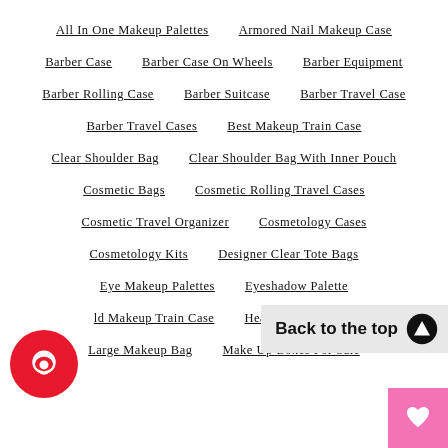All In One Makeup Palettes
Armored Nail Makeup Case
Barber Case
Barber Case On Wheels
Barber Equipment
Barber Rolling Case
Barber Suitcase
Barber Travel Case
Barber Travel Cases
Best Makeup Train Case
Clear Shoulder Bag
Clear Shoulder Bag With Inner Pouch
Cosmetic Bags
Cosmetic Rolling Travel Cases
Cosmetic Travel Organizer
Cosmetology Cases
Cosmetology Kits
Designer Clear Tote Bags
Eye Makeup Palettes
Eyeshadow Palette
ld Makeup Train Case
Heavy D... ........ ....
Large Makeup Bag
Make Up Boxes For Sale